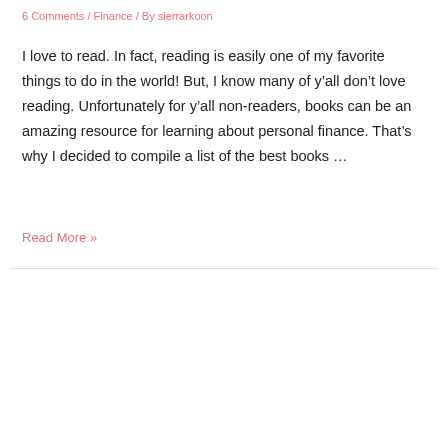6 Comments / Finance / By sierrarkoon
I love to read. In fact, reading is easily one of my favorite things to do in the world! But, I know many of y’all don’t love reading. Unfortunately for y’all non-readers, books can be an amazing resource for learning about personal finance. That’s why I decided to compile a list of the best books …
Read More »